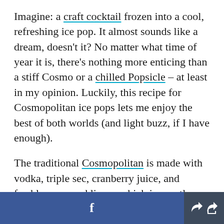Imagine: a craft cocktail frozen into a cool, refreshing ice pop. It almost sounds like a dream, doesn't it? No matter what time of year it is, there's nothing more enticing than a stiff Cosmo or a chilled Popsicle – at least in my opinion. Luckily, this recipe for Cosmopolitan ice pops lets me enjoy the best of both worlds (and light buzz, if I have enough).
The traditional Cosmopolitan is made with vodka, triple sec, cranberry juice, and freshly squeezed limes, which is exactly what this recipe calls for (as well as a tablespoon of sugar). Any vodka will do,
f  [share]